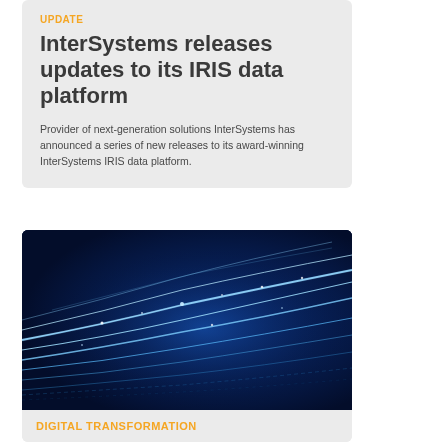UPDATE
InterSystems releases updates to its IRIS data platform
Provider of next-generation solutions InterSystems has announced a series of new releases to its award-winning InterSystems IRIS data platform.
[Figure (illustration): Abstract digital technology background with glowing blue streaks and light trails on dark blue background]
DIGITAL TRANSFORMATION